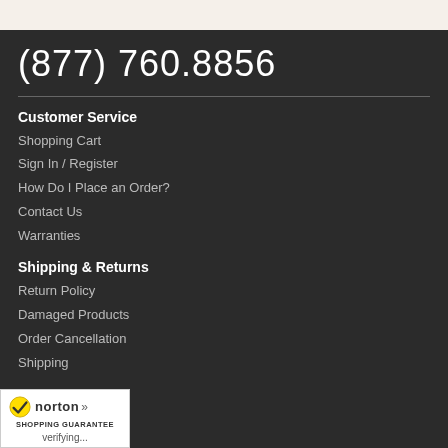(877) 760.8856
Customer Service
Shopping Cart
Sign In / Register
How Do I Place an Order?
Contact Us
Warranties
Shipping & Returns
Return Policy
Damaged Products
Order Cancellation
Shipping
[Figure (logo): Norton Shopping Guarantee badge with checkmark logo and 'verifying...' text]